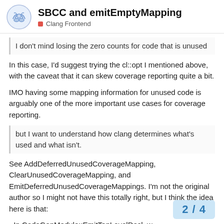SBCC and emitEmptyMapping — Clang Frontend
I don't mind losing the zero counts for code that is unused
In this case, I'd suggest trying the cl::opt I mentioned above, with the caveat that it can skew coverage reporting quite a bit.
IMO having some mapping information for unused code is arguably one of the more important use cases for coverage reporting.
but I want to understand how clang determines what's used and what isn't.
See AddDeferredUnusedCoverageMapping, ClearUnusedCoverageMapping, and EmitDeferredUnusedCoverageMappings. I'm not the original author so I might not have this totally right, but I think the idea here is that:
- In CodeGenModule::EmitTopLevelDecl, w
2 / 4